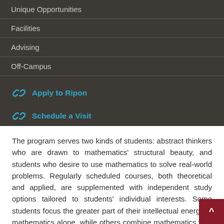Unique Opportunities
Facilities
Advising
Off-Campus
Apply to Ripon
Schedule a Visit
Request Info
The program serves two kinds of students: abstract thinkers who are drawn to mathematics' structural beauty, and students who desire to use mathematics to solve real-world problems. Regularly scheduled courses, both theoretical and applied, are supplemented with independent study options tailored to students' individual interests. Some students focus the greater part of their intellectual energy in mathematics alone, while others combine mathematics with another field,